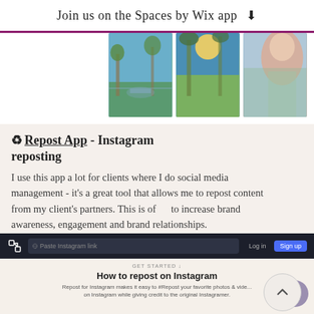Join us on the Spaces by Wix app ⬇
[Figure (photo): Three outdoor photos in a row: a park path with a person, a forest scene with bright sunlight, and a woman smiling outdoors.]
♻ Repost App - Instagram reposting
I use this app a lot for clients where I do social media management - it's a great tool that allows me to repost content from my client's partners. This is often to increase brand awareness, engagement and brand relationships.
[Figure (screenshot): Screenshot of the Repost App website showing a dark navigation bar with a URL input field, Log in and Sign up buttons, and below it a 'GET STARTED' section with the heading 'How to repost on Instagram' and a brief description. A purple chat bubble button appears in the bottom right.]